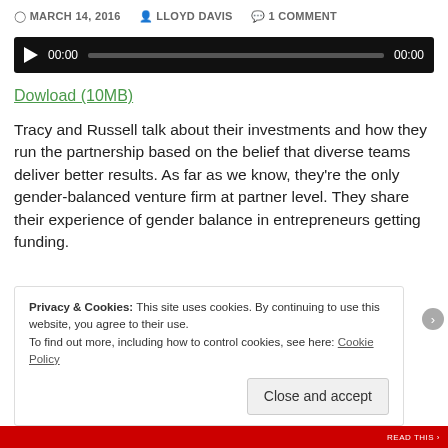MARCH 14, 2016  LLOYD DAVIS  1 COMMENT
[Figure (other): Audio player with play button, 00:00 start time, progress bar, and 00:00 end time on black background]
Dowload (10MB)
Tracy and Russell talk about their investments and how they run the partnership based on the belief that diverse teams deliver better results.  As far as we know, they're the only gender-balanced venture firm at partner level.  They share their experience of gender balance in entrepreneurs getting funding.
Privacy & Cookies: This site uses cookies. By continuing to use this website, you agree to their use.
To find out more, including how to control cookies, see here: Cookie Policy
Close and accept